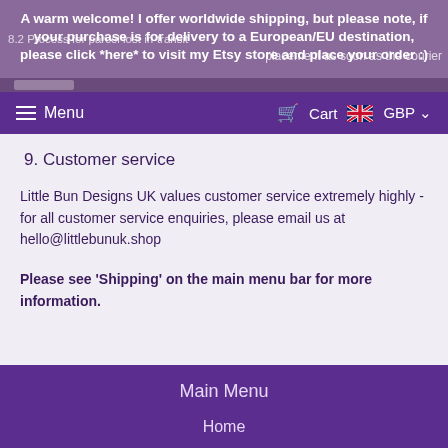A warm welcome! I offer worldwide shipping, but please note, if your purchase is for delivery to a European/EU destination, please click *here* to visit my Etsy store and place your order :)
8.2 Process for parcel lost in-transit ... placement as soon as the courier
Menu  Cart  GBP
9. Customer service
Little Bun Designs UK values customer service extremely highly - for all customer service enquiries, please email us at hello@littlebunuk.shop
Please see ‘Shipping’ on the main menu bar for more information.
Main Menu
Home